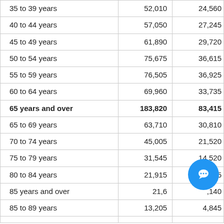| Age Group | Total | Partial |
| --- | --- | --- |
| 35 to 39 years | 52,010 | 24,560 |
| 40 to 44 years | 57,050 | 27,245 |
| 45 to 49 years | 61,890 | 29,720 |
| 50 to 54 years | 75,675 | 36,615 |
| 55 to 59 years | 76,505 | 36,925 |
| 60 to 64 years | 69,960 | 33,735 |
| 65 years and over | 183,820 | 83,415 |
| 65 to 69 years | 63,710 | 30,810 |
| 70 to 74 years | 45,005 | 21,520 |
| 75 to 79 years | 31,545 | 14,520 |
| 80 to 84 years | 21,915 | 9,425 |
| 85 years and over | 21,6-- | --,140 |
| 85 to 89 years | 13,205 | 4,845 |